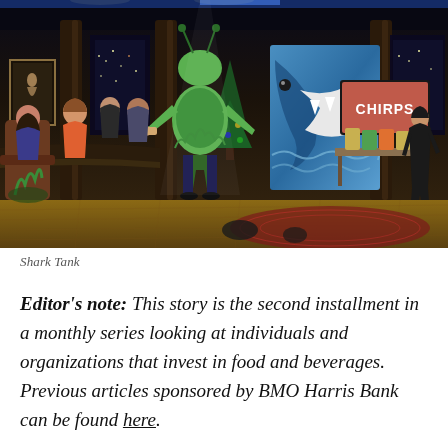[Figure (photo): A scene from Shark Tank TV show. People seated on the left side (the sharks/judges) in chairs. A person in a green cricket/bug costume stands in the middle presenting. A large shark graphic banner is visible in the background. On the right, a woman in black stands next to a table with CHIRPS branded products and a sign reading CHIRPS.]
Shark Tank
Editor's note: This story is the second installment in a monthly series looking at individuals and organizations that invest in food and beverages. Previous articles sponsored by BMO Harris Bank can be found here.